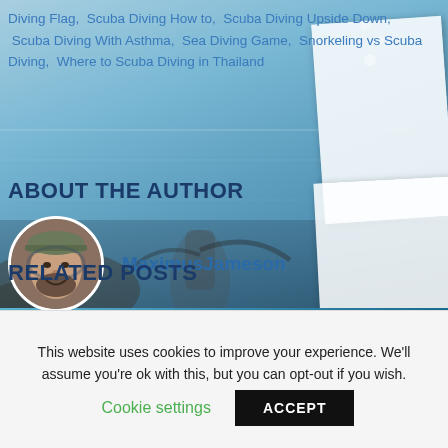Diving Flag, Scuba Diving How to, Scuba Diving Upside Down, Scuba Diving With Asthma, Sea Diving Game, Snorkeling vs Scuba Diving, Where to Scuba Diving in Thailand
ABOUT THE AUTHOR
MaximusJameson
[Figure (photo): Circular avatar photo of a bearded man wearing a cap, with scuba diving equipment visible in the background]
RELATED POSTS
[Figure (photo): Background underwater/ocean scene with polaroid-style photo cards and scuba diver silhouette]
This website uses cookies to improve your experience. We'll assume you're ok with this, but you can opt-out if you wish.
Cookie settings
ACCEPT